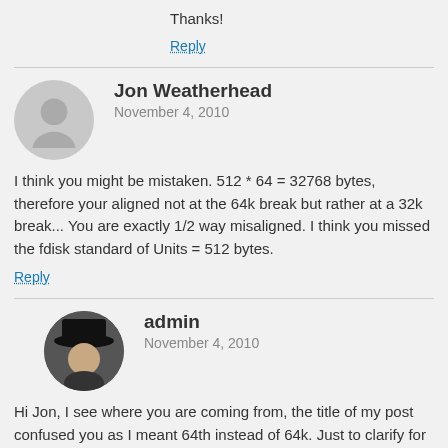Thanks!
Reply
Jon Weatherhead
November 4, 2010
I think you might be mistaken. 512 * 64 = 32768 bytes, therefore your aligned not at the 64k break but rather at a 32k break... You are exactly 1/2 way misaligned. I think you missed the fdisk standard of Units = 512 bytes.
Reply
admin
November 4, 2010
Hi Jon, I see where you are coming from, the title of my post confused you as I meant 64th instead of 64k. Just to clarify for you and the other readers, physical disk and virtual disks reserve the first 63 sectors as a section for the